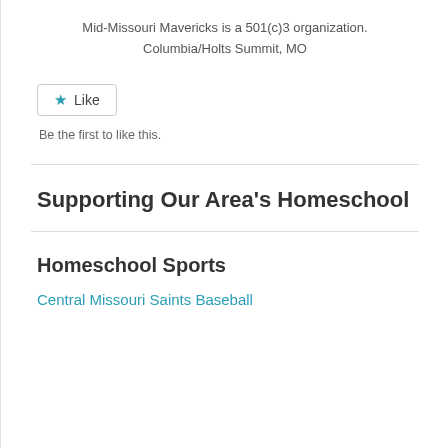Mid-Missouri Mavericks is a 501(c)3 organization.
Columbia/Holts Summit, MO
[Figure (other): Like button widget with star icon]
Be the first to like this.
Supporting Our Area's Homeschool
Homeschool Sports
Central Missouri Saints Baseball